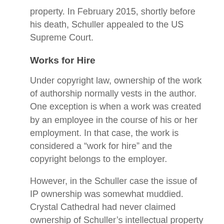property. In February 2015, shortly before his death, Schuller appealed to the US Supreme Court.
Works for Hire
Under copyright law, ownership of the work of authorship normally vests in the author. One exception is when a work was created by an employee in the course of his or her employment. In that case, the work is considered a “work for hire” and the copyright belongs to the employer.
However, in the Schuller case the issue of IP ownership was somewhat muddied. Crystal Cathedral had never claimed ownership of Schuller’s intellectual property before the bankruptcy dispute arose, but nor had Schuller claimed royalties for the church’s use of “his” IP.